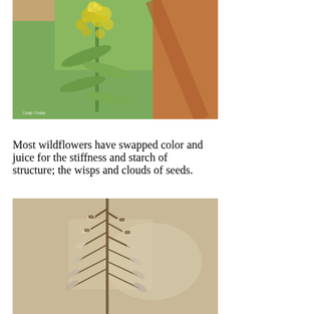[Figure (photo): Close-up photograph of a goldenrod wildflower with yellow blooms and green leaves, with blurred orange-brown background. Watermark reads 'Cindy Crosby' in lower left corner.]
Most wildflowers have swapped color and juice for the stiffness and starch of structure; the wisps and clouds of seeds.
[Figure (photo): Close-up photograph of a dried seed head of a plant (goldenrod gone to seed) with brown and white wispy seed tufts against a blurred beige background.]